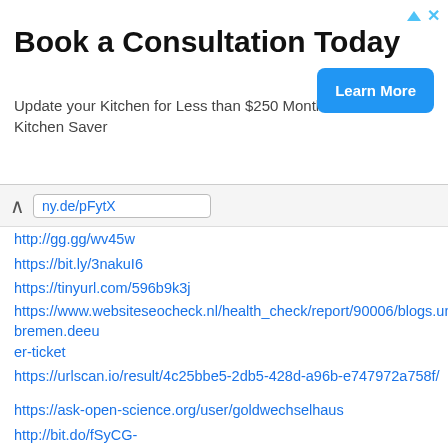[Figure (other): Advertisement banner: 'Book a Consultation Today' with subtitle 'Update your Kitchen for Less than $250 Month Kitchen Saver' and a blue 'Learn More' button.]
ny.de/pFytX
http://gg.gg/wv45w
https://bit.ly/3nakuI6
https://tinyurl.com/596b9k3j
https://www.websiteseocheck.nl/health_check/report/90006/blogs.uni-bremen.deeu er-ticket
https://urlscan.io/result/4c25bbe5-2db5-428d-a96b-e747972a758f/
https://ask-open-science.org/user/goldwechselhaus
http://bit.do/fSyCG-
https://is.gd/P3dtLY-
https://kurzelinks.de/xdg4
https://t1p.de/axb7
https://0cn.de/8h2y
https://lmy.de/evbXa
http://gg.gg/wv46d
https://bit.ly/3nbNZtf